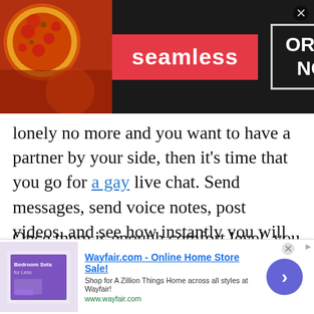[Figure (screenshot): Seamless food delivery advertisement banner with pizza image on left, red Seamless logo in center, and ORDER NOW button on right with dark background]
lonely no more and you want to have a partner by your side, then it's time that you go for a gay live chat. Send messages, send voice notes, post videos, and see how instantly you will connect with the other man.
Once there is enough comfort level, you can always propose the one you like. There are 98% chances that your soulmate is on talkwithstranger. You need to sign up for this website and start chatting to know this. This marvelous platform has found partners for millions of gay men around the globe, and it will do the same for you. It is
[Figure (screenshot): Wayfair.com online home store sale advertisement banner with bedroom sets image on left, ad title and description in center, and blue arrow button on right]